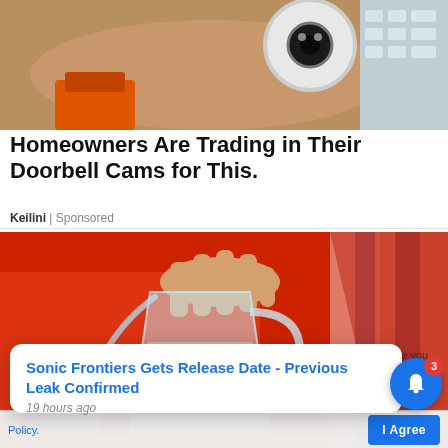[Figure (photo): Hand holding a white security camera with orange watch band visible, gray blocks/modules in background]
Homeowners Are Trading in Their Doorbell Cams for This.
Keilini | Sponsored
[Figure (photo): Person in red top pouring water from a glass pitcher, another glass nearby, red bag in background]
Sonic Frontiers Gets Release Date - Previous Leak Confirmed
19 hours ago
his website you are
rivacy and
Policy.
I Agree